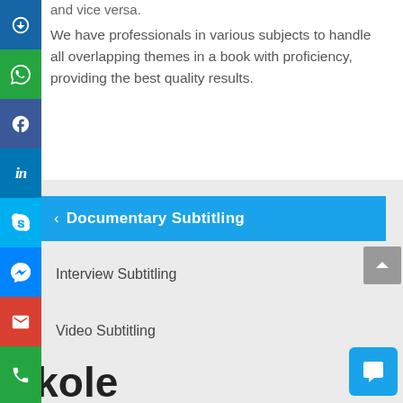and vice versa.
We have professionals in various subjects to handle all overlapping themes in a book with proficiency, providing the best quality results.
Documentary Subtitling
Interview Subtitling
Video Subtitling
Nkole